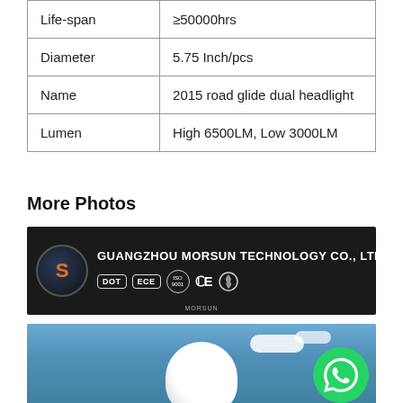|  |  |
| --- | --- |
| Life-span | ≥50000hrs |
| Diameter | 5.75 Inch/pcs |
| Name | 2015 road glide dual headlight |
| Lumen | High 6500LM, Low 3000LM |
More Photos
[Figure (photo): Guangzhou Morsun Technology Co., Ltd. company banner with logo, DOT, ECE, ISO 9001, CE, and RoHS certification badges on dark background with vehicle]
[Figure (photo): White LED headlight product photo against blue sky with clouds, with WhatsApp contact button overlay]